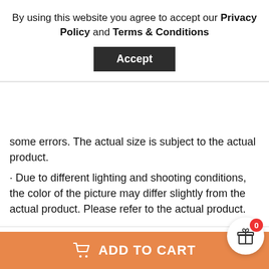By using this website you agree to accept our Privacy Policy and Terms & Conditions
[Figure (other): Accept button — dark background with white bold text 'Accept']
some errors. The actual size is subject to the actual product.
· Due to different lighting and shooting conditions, the color of the picture may differ slightly from the actual product. Please refer to the actual product.
Item specifics
Shipping & Payment